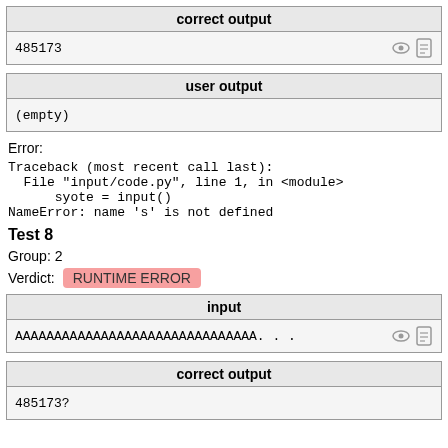| correct output |
| --- |
| 485173 |
| user output |
| --- |
| (empty) |
Error:
Traceback (most recent call last):
  File "input/code.py", line 1, in <module>
      syote = input()
NameError: name 's' is not defined
Test 8
Group: 2
Verdict: RUNTIME ERROR
| input |
| --- |
| AAAAAAAAAAAAAAAAAAAAAAAAAAAAAAA... |
| correct output |
| --- |
| 485173? |